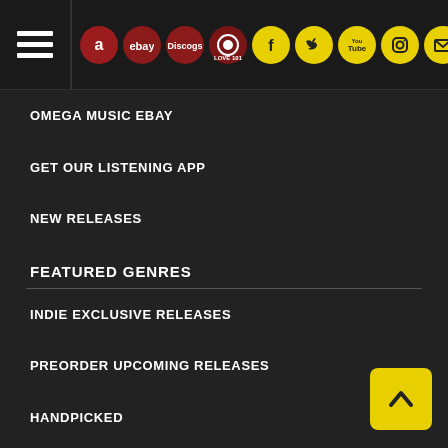Navigation bar with hamburger menu and social/shop icons
OMEGA MUSIC EBAY
GET OUR LISTENING APP
NEW RELEASES
FEATURED GENRES
INDIE EXCLUSIVE RELEASES
PREORDER UPCOMING RELEASES
HANDPICKED
HEADBANGER'S WALL
THE PLAYLIST